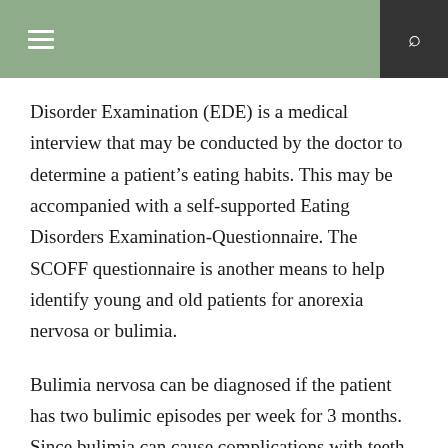≡  🔍
Disorder Examination (EDE) is a medical interview that may be conducted by the doctor to determine a patient's eating habits. This may be accompanied with a self-supported Eating Disorders Examination-Questionnaire. The SCOFF questionnaire is another means to help identify young and old patients for anorexia nervosa or bulimia.
Bulimia nervosa can be diagnosed if the patient has two bulimic episodes per week for 3 months. Since bulimia can cause complications with teeth and gums, dentists can also aid in identifying the disorder.
Anorexia nervosa can be diagnosed if the